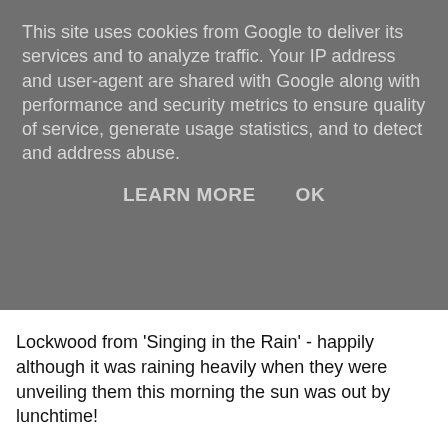This site uses cookies from Google to deliver its services and to analyze traffic. Your IP address and user-agent are shared with Google along with performance and security metrics to ensure quality of service, generate usage statistics, and to detect and address abuse.
LEARN MORE   OK
Lockwood from 'Singing in the Rain' - happily although it was raining heavily when they were unveiling them this morning the sun was out by lunchtime!
[Figure (photo): A broken/missing image placeholder with a small image icon in the top-left corner and a white rectangle body]